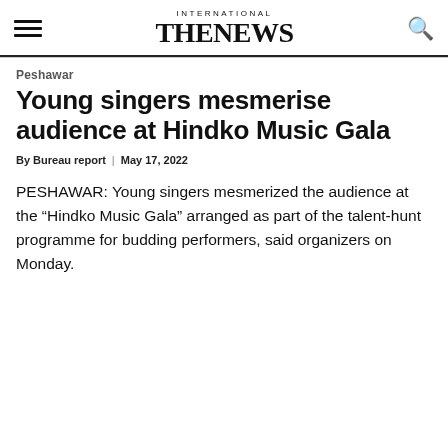INTERNATIONAL THE NEWS
Peshawar
Young singers mesmerise audience at Hindko Music Gala
By Bureau report | May 17, 2022
PESHAWAR: Young singers mesmerized the audience at the “Hindko Music Gala” arranged as part of the talent-hunt programme for budding performers, said organizers on Monday.